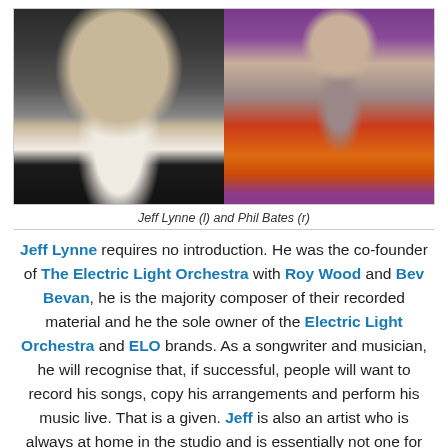[Figure (photo): Two side-by-side photos: Jeff Lynne on the left (man in black jacket and white shirt) and Phil Bates on the right (man playing a red electric guitar on a purple-lit stage)]
Jeff Lynne (l) and Phil Bates (r)
Jeff Lynne requires no introduction. He was the co-founder of The Electric Light Orchestra with Roy Wood and Bev Bevan, he is the majority composer of their recorded material and he the sole owner of the Electric Light Orchestra and ELO brands. As a songwriter and musician, he will recognise that, if successful, people will want to record his songs, copy his arrangements and perform his music live. That is a given. Jeff is also an artist who is always at home in the studio and is essentially not one for touring. Indeed, it has now been 28 years since the last brief ELO tour in 1986 to promote "Balance Of Power" and